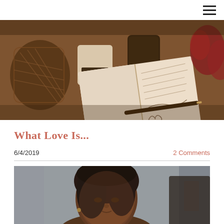☰
[Figure (photo): A journal/notebook open on a table with handwritten text and a heart drawing, with a pen resting on it. A candle labeled 'DREAM' and other decorative objects are in the background. Warm amber tones.]
What Love Is...
6/4/2019
2 Comments
[Figure (photo): Portrait photo of a Black woman with dark hair, smiling slightly, with blurred background showing curtains and furniture.]